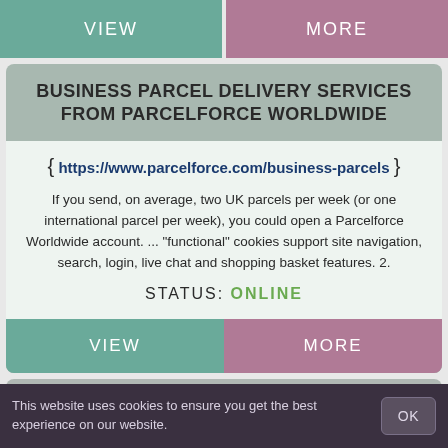VIEW
MORE
BUSINESS PARCEL DELIVERY SERVICES FROM PARCELFORCE WORLDWIDE
https://www.parcelforce.com/business-parcels
If you send, on average, two UK parcels per week (or one international parcel per week), you could open a Parcelforce Worldwide account. ... "functional" cookies support site navigation, search, login, live chat and shopping basket features. 2.
STATUS: ONLINE
VIEW
MORE
TRACK YOUR PARCEL WITH DHL | DHL EXPRESS
This website uses cookies to ensure you get the best experience on our website.